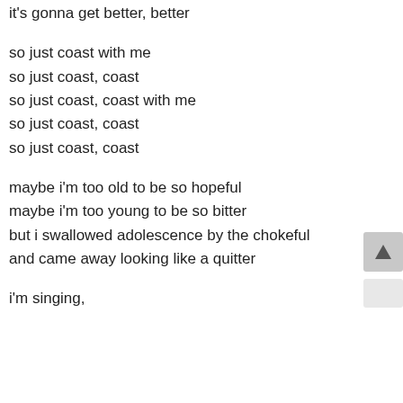it's gonna get better, better
so just coast with me
so just coast, coast
so just coast, coast with me
so just coast, coast
so just coast, coast
maybe i'm too old to be so hopeful
maybe i'm too young to be so bitter
but i swallowed adolescence by the chokeful
and came away looking like a quitter
i'm singing,